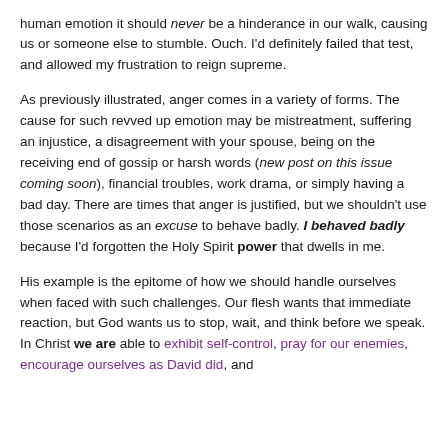human emotion it should never be a hinderance in our walk, causing us or someone else to stumble. Ouch. I'd definitely failed that test, and allowed my frustration to reign supreme.
As previously illustrated, anger comes in a variety of forms. The cause for such revved up emotion may be mistreatment, suffering an injustice, a disagreement with your spouse, being on the receiving end of gossip or harsh words (new post on this issue coming soon), financial troubles, work drama, or simply having a bad day. There are times that anger is justified, but we shouldn't use those scenarios as an excuse to behave badly. I behaved badly because I'd forgotten the Holy Spirit power that dwells in me.
His example is the epitome of how we should handle ourselves when faced with such challenges. Our flesh wants that immediate reaction, but God wants us to stop, wait, and think before we speak. In Christ we are able to exhibit self-control, pray for our enemies, encourage ourselves as David did, and